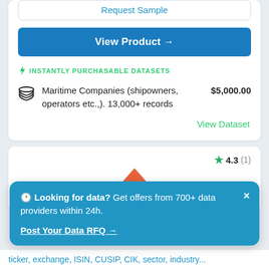Request Sample
View Product →
⚡ INSTANTLY PURCHASABLE DATASETS
Maritime Companies (shipowners, operators etc.,). 13,000+ records
$5,000.00
View Dataset
★ 4.3 (1)
🕐 Looking for data? Get offers from 700+ data providers within 24h.
Post Your Data RFQ →
ticker, exchange, ISIN, CUSIP, CIK, sector, industry...